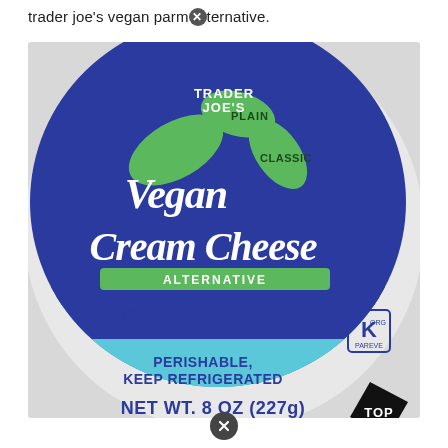trader joe's vegan parm✕ternative.
[Figure (photo): Trader Joe's Vegan Cream Cheese Alternative product lid/top, showing blue and green circular label with text: TRADER JOE'S, Plain, Classic, Vegan Cream Cheese Alternative, Dairy Free • Lactose Free, Perishable Keep Refrigerated, NET WT. 8 OZ (227g), Kosher symbol, TOP label on corner.]